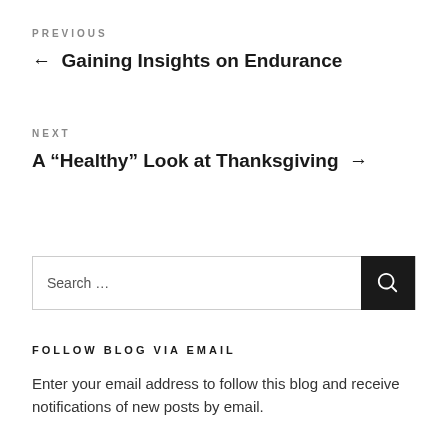PREVIOUS
← Gaining Insights on Endurance
NEXT
A “Healthy” Look at Thanksgiving →
[Figure (other): Search bar with text 'Search …' and a dark search button with magnifying glass icon]
FOLLOW BLOG VIA EMAIL
Enter your email address to follow this blog and receive notifications of new posts by email.